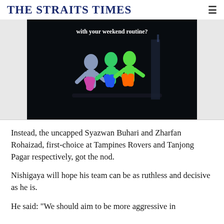THE STRAITS TIMES
[Figure (photo): Dark stage photo showing dancers in colorful neon costumes (blue, green, orange) performing a dynamic pose. Text overlay reads 'with your weekend routine?']
Instead, the uncapped Syazwan Buhari and Zharfan Rohaizad, first-choice at Tampines Rovers and Tanjong Pagar respectively, got the nod.
Nishigaya will hope his team can be as ruthless and decisive as he is.
He said: "We should aim to be more aggressive in